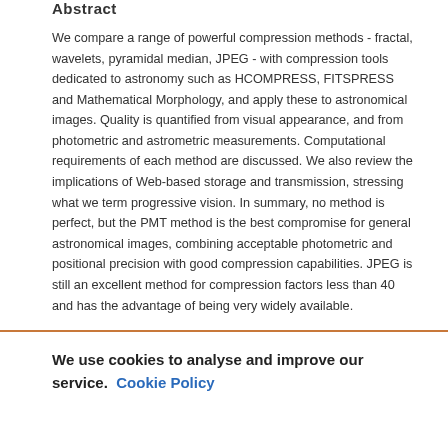Abstract
We compare a range of powerful compression methods - fractal, wavelets, pyramidal median, JPEG - with compression tools dedicated to astronomy such as HCOMPRESS, FITSPRESS and Mathematical Morphology, and apply these to astronomical images. Quality is quantified from visual appearance, and from photometric and astrometric measurements. Computational requirements of each method are discussed. We also review the implications of Web-based storage and transmission, stressing what we term progressive vision. In summary, no method is perfect, but the PMT method is the best compromise for general astronomical images, combining acceptable photometric and positional precision with good compression capabilities. JPEG is still an excellent method for compression factors less than 40 and has the advantage of being very widely available.
We use cookies to analyse and improve our service. Cookie Policy